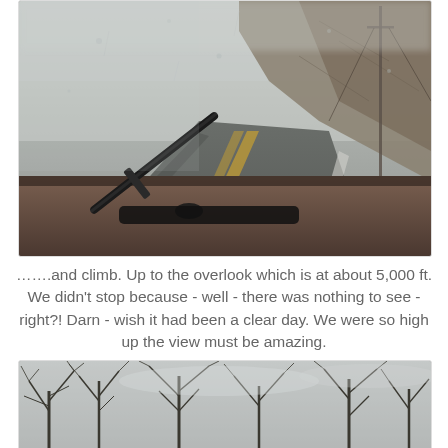[Figure (photo): Dashboard view through a rain-covered windshield with a windshield wiper visible. The road curves through foggy, misty conditions with rocky hillside on the right and yellow center lines visible on the wet road.]
…….and climb. Up to the overlook which is at about 5,000 ft. We didn't stop because - well - there was nothing to see - right?! Darn - wish it had been a clear day. We were so high up the view must be amazing.
[Figure (photo): Bare winter trees photographed from below looking up, with gray overcast sky visible through the branches.]